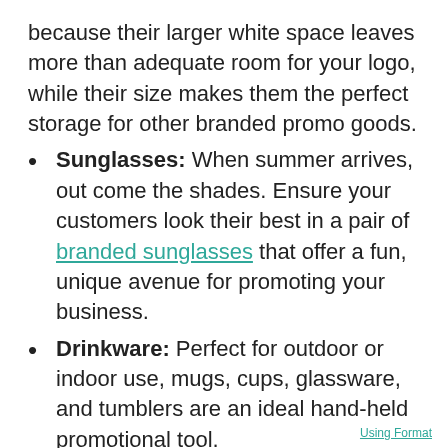because their larger white space leaves more than adequate room for your logo, while their size makes them the perfect storage for other branded promo goods.
Sunglasses: When summer arrives, out come the shades. Ensure your customers look their best in a pair of branded sunglasses that offer a fun, unique avenue for promoting your business.
Drinkware: Perfect for outdoor or indoor use, mugs, cups, glassware, and tumblers are an ideal hand-held promotional tool.
Journals and Sticky Notes: We all love taking notes. Why not ensure your customers take their notes while keeping you top of mind?
Using Format